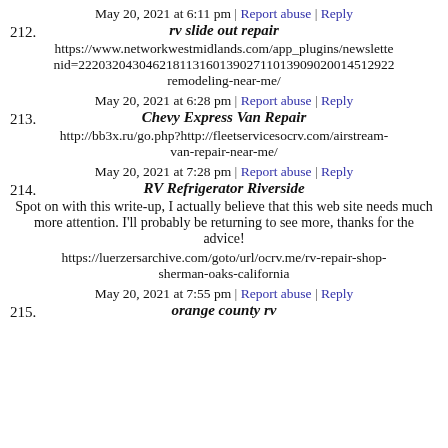May 20, 2021 at 6:11 pm | Report abuse | Reply
212. rv slide out repair
https://www.networkwestmidlands.com/app_plugins/newsletter nid=2220320430462181131601390271101390902001451292... remodeling-near-me/
May 20, 2021 at 6:28 pm | Report abuse | Reply
213. Chevy Express Van Repair
http://bb3x.ru/go.php?http://fleetservicesocrv.com/airstream-van-repair-near-me/
May 20, 2021 at 7:28 pm | Report abuse | Reply
214. RV Refrigerator Riverside
Spot on with this write-up, I actually believe that this web site needs much more attention. I'll probably be returning to see more, thanks for the advice!
https://luerzersarchive.com/goto/url/ocrv.me/rv-repair-shop-sherman-oaks-california
May 20, 2021 at 7:55 pm | Report abuse | Reply
215. orange county rv